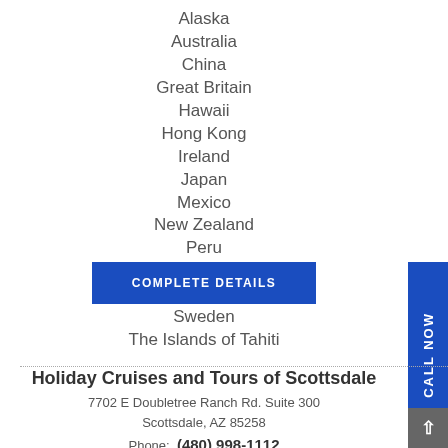Alaska
Australia
China
Great Britain
Hawaii
Hong Kong
Ireland
Japan
Mexico
New Zealand
Peru
South Africa
Spain
Sweden
The Islands of Tahiti
COMPLETE DETAILS
CALL NOW
Holiday Cruises and Tours of Scottsdale
7702 E Doubletree Ranch Rd. Suite 300
Scottsdale, AZ 85258
Phone: (480) 998-1112